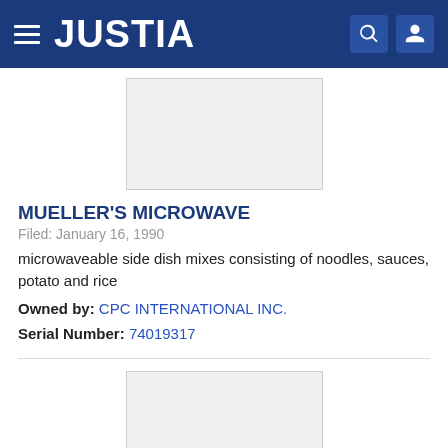JUSTIA
[Figure (other): Trademark image placeholder box (light gray rectangle with border)]
MUELLER'S MICROWAVE
Filed: January 16, 1990
microwaveable side dish mixes consisting of noodles, sauces, potato and rice
Owned by: CPC INTERNATIONAL INC.
Serial Number: 74019317
[Figure (other): Second trademark image placeholder box (light gray rectangle with border)]